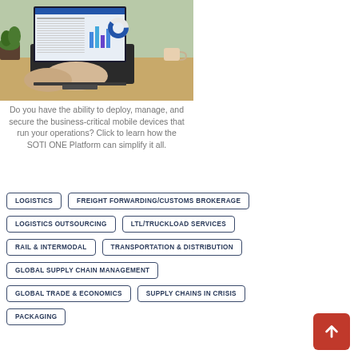[Figure (photo): Person using a laptop displaying a business dashboard with charts and data tables, on a wooden desk with a plant and coffee cup in background.]
Do you have the ability to deploy, manage, and secure the business-critical mobile devices that run your operations? Click to learn how the SOTI ONE Platform can simplify it all.
LOGISTICS
FREIGHT FORWARDING/CUSTOMS BROKERAGE
LOGISTICS OUTSOURCING
LTL/TRUCKLOAD SERVICES
RAIL & INTERMODAL
TRANSPORTATION & DISTRIBUTION
GLOBAL SUPPLY CHAIN MANAGEMENT
GLOBAL TRADE & ECONOMICS
SUPPLY CHAINS IN CRISIS
PACKAGING